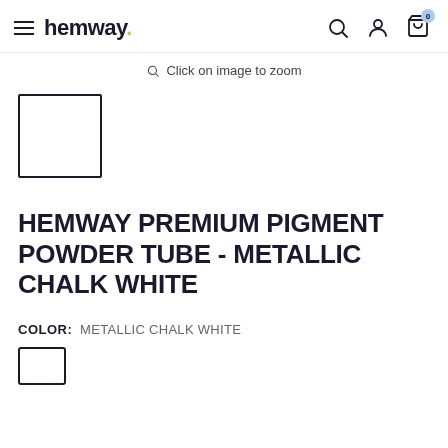hemway. [navigation header with search, account, cart icons]
Click on image to zoom
[Figure (photo): Small white square thumbnail image placeholder with dark border]
HEMWAY PREMIUM PIGMENT POWDER TUBE - METALLIC CHALK WHITE
COLOR:  METALLIC CHALK WHITE
[Figure (other): Small white color swatch box with dark border]